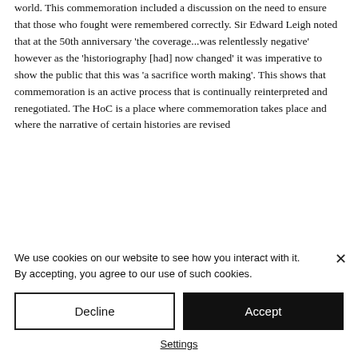world. This commemoration included a discussion on the need to ensure that those who fought were remembered correctly. Sir Edward Leigh noted that at the 50th anniversary 'the coverage...was relentlessly negative' however as the 'historiography [had] now changed' it was imperative to show the public that this was 'a sacrifice worth making'. This shows that commemoration is an active process that is continually reinterpreted and renegotiated. The HoC is a place where commemoration takes place and where the narrative of certain histories are revised
We use cookies on our website to see how you interact with it. By accepting, you agree to our use of such cookies.
Decline
Accept
Settings